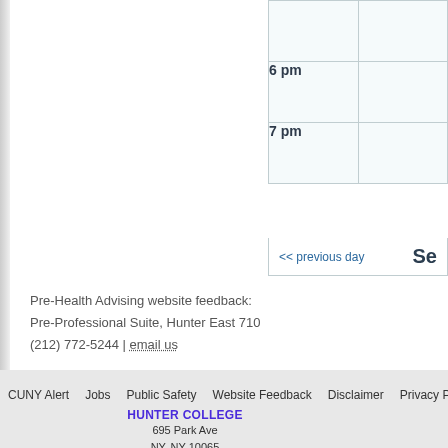| Time |  |
| --- | --- |
|  |  |
| 6 pm |  |
| 7 pm |  |
<< previous day   Se
Pre-Health Advising website feedback:
Pre-Professional Suite, Hunter East 710
(212) 772-5244 | email us
CUNY Alert   Jobs   Public Safety   Website Feedback   Disclaimer   Privacy P
HUNTER COLLEGE
695 Park Ave
NY, NY 10065
212 772 4000